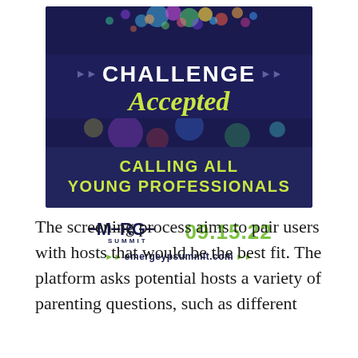[Figure (infographic): Emerge Summit advertisement banner with dark navy background. Top section shows colorful confetti/paint splash. Text reads: CHALLENGE Accepted (in script) with play button arrows. Below: CALLING ALL YOUNG PROFESSIONALS. Bottom shows Emerge Summit logo and date 09.15.22 in green, and website emergeypsummit.com.]
The screening process aims to pair users with hosts that would be the best fit. The platform asks potential hosts a variety of parenting questions, such as different